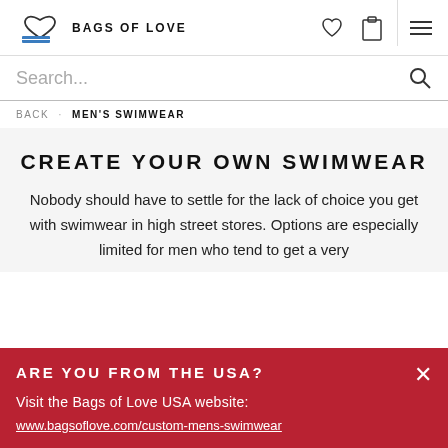BAGS OF LOVE
Search...
BACK · MEN'S SWIMWEAR
CREATE YOUR OWN SWIMWEAR
Nobody should have to settle for the lack of choice you get with swimwear in high street stores. Options are especially limited for men who tend to get a very
ARE YOU FROM THE USA?
Visit the Bags of Love USA website: www.bagsoflove.com/custom-mens-swimwear